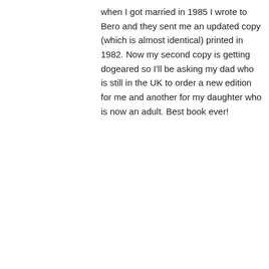when I got married in 1985 I wrote to Bero and they sent me an updated copy (which is almost identical) printed in 1982. Now my second copy is getting dogeared so I'll be asking my dad who is still in the UK to order a new edition for me and another for my daughter who is now an adult. Best book ever!
★ Like
↳ Reply
buttery77 on 17/08/2014 at 4:34 pm
[Figure (screenshot): Bloomingdale's advertisement banner with woman in hat, 'View Today's Top Deals!' text and 'SHOP NOW >' button]